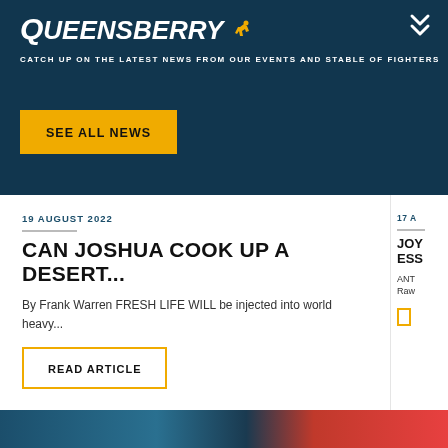Queensberry
CATCH UP ON THE LATEST NEWS FROM OUR EVENTS AND STABLE OF FIGHTERS
SEE ALL NEWS
19 AUGUST 2022
CAN JOSHUA COOK UP A DESERT...
By Frank Warren FRESH LIFE WILL be injected into world heavy...
READ ARTICLE
17 A
JOY ESS
ANT Raw